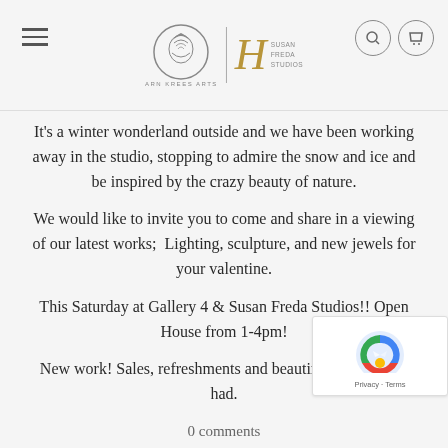ARN KREES ARTS | SUSAN FREDA STUDIOS
It's a winter wonderland outside and we have been working away in the studio, stopping to admire the snow and ice and be inspired by the crazy beauty of nature.
We would like to invite you to come and share in a viewing of our latest works;  Lighting, sculpture, and new jewels for your valentine.
This Saturday at Gallery 4 & Susan Freda Studios!! Open House from 1-4pm!
New work! Sales, refreshments and beautiful drinks to be had.
0 comments